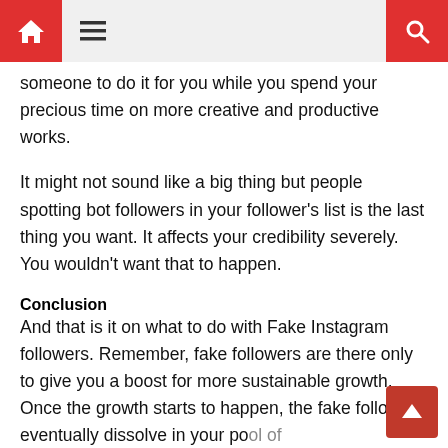[Navigation bar with home, menu, and search icons]
someone to do it for you while you spend your precious time on more creative and productive works.
It might not sound like a big thing but people spotting bot followers in your follower's list is the last thing you want. It affects your credibility severely. You wouldn't want that to happen.
Conclusion
And that is it on what to do with Fake Instagram followers. Remember, fake followers are there only to give you a boost for more sustainable growth. Once the growth starts to happen, the fake followers eventually dissolve in your pool of followers.